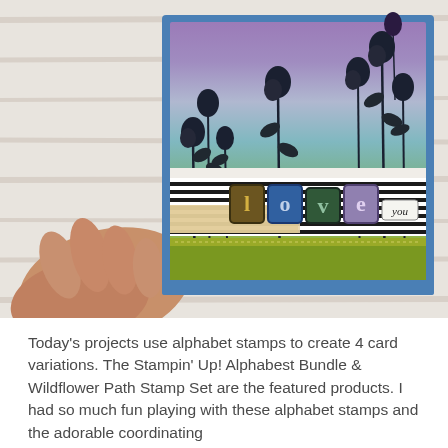[Figure (photo): A hand holding a handmade greeting card with a floral wildflower background using purple, blue, and green ink blending. The card features letter tiles spelling 'love' and a small tag reading 'you', with black wildflower silhouette stamps and a striped banner across the center.]
Today's projects use alphabet stamps to create 4 card variations. The Stampin' Up! Alphabest Bundle & Wildflower Path Stamp Set are the featured products. I had so much fun playing with these alphabet stamps and the adorable coordinating